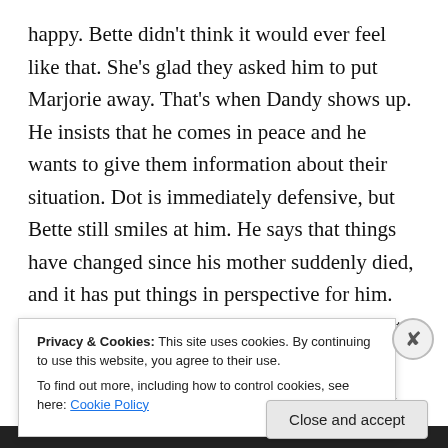happy.  Bette didn't think it would ever feel like that.  She's glad they asked him to put Marjorie away.  That's when Dandy shows up.  He insists that he comes in peace and he wants to give them information about their situation.  Dot is immediately defensive, but Bette still smiles at him.  He says that things have changed since his mother suddenly died, and it has put things in perspective for him.  Bette is incredibly sympathetic.  He says that he needs to reach out to the people who he cares about.  Bette tells him that they're with another man.  He knows this, and he insists that he comes in friendship.  He says
Privacy & Cookies: This site uses cookies. By continuing to use this website, you agree to their use.
To find out more, including how to control cookies, see here: Cookie Policy
Close and accept